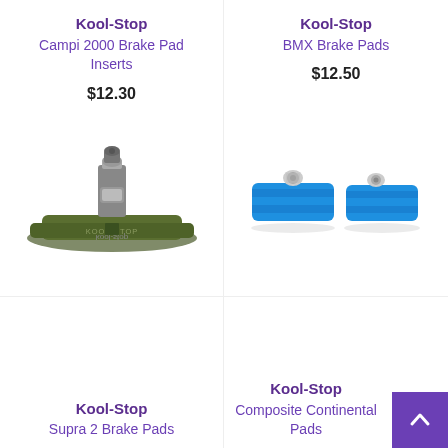Kool-Stop
Campi 2000 Brake Pad Inserts
$12.30
[Figure (photo): Kool-Stop Campi 2000 Brake Pad Inserts - dark olive green brake pad with metal bolt hardware]
Kool-Stop
BMX Brake Pads
$12.50
[Figure (photo): Kool-Stop BMX Brake Pads - two blue rectangular brake pads with silver metal bolt hardware]
Kool-Stop
Supra 2 Brake Pads
Kool-Stop
Composite Continental Pads